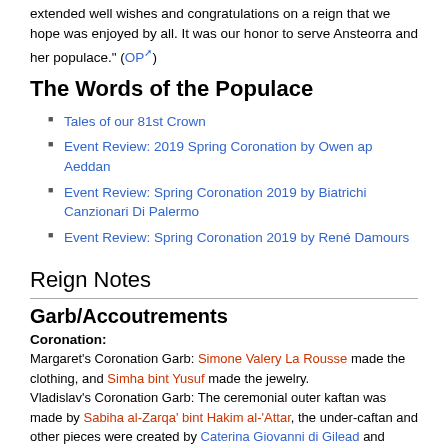extended well wishes and congratulations on a reign that we hope was enjoyed by all. It was our honor to serve Ansteorra and her populace." (OP)
The Words of the Populace
Tales of our 81st Crown
Event Review: 2019 Spring Coronation by Owen ap Aeddan
Event Review: Spring Coronation 2019 by Biatrichi Canzionari Di Palermo
Event Review: Spring Coronation 2019 by René Damours
Reign Notes
Garb/Accoutrements
Coronation:
Margaret's Coronation Garb: Simone Valery La Rousse made the clothing, and Simha bint Yusuf made the jewelry. Vladislav's Coronation Garb: The ceremonial outer kaftan was made by Sabiha al-Zarqa' bint Hakim al-'Attar, the under-caftan and other pieces were created by Caterina Giovanni di Gilead and Anastasiia Dmitrieva Sokolova, with the braids for the caftan handmade by Masina Da Ferrara. The felt cap was made by Adena Terricsdottir, and the wrap was made by